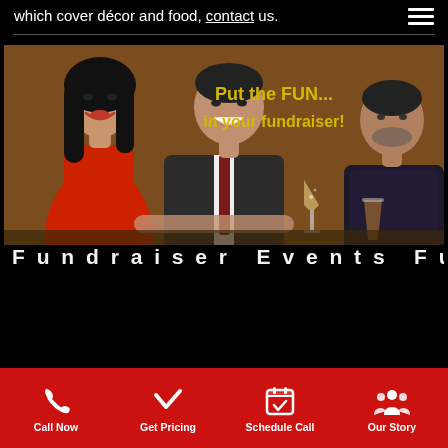which cover décor and food, contact us.
[Figure (photo): Three people socializing at a bar/event — a woman in red, a man in a suit holding a champagne glass, and another man in background. Text overlay reads 'Put the FUN... in your fundraiser!' in yellow-gold bold font.]
Call Now  Get Pricing  Schedule Call  Our Story